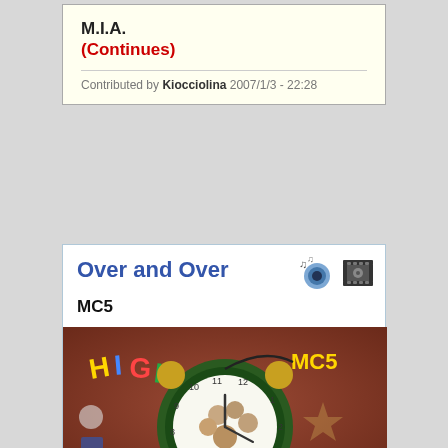M.I.A.
(Continues)
Contributed by Kiocciolina 2007/1/3 - 22:28
Over and Over
MC5
[Figure (photo): Album cover for MC5 'High Time' showing a large alarm clock with band member photos inside the clock face, text 'HIGH' and 'MC5' visible, red background with scattered objects]